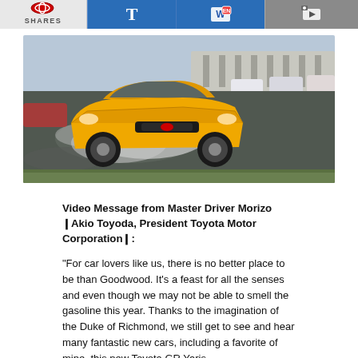SHARES | T | [icon] | [icon]
[Figure (photo): Yellow Toyota GR Yaris sports car drifting on a wet racetrack with smoke from tires, other cars visible in background at what appears to be Goodwood event]
Video Message from Master Driver Morizo ‖Akio Toyoda, President Toyota Motor Corporation‖:
“For car lovers like us, there is no better place to be than Goodwood. It’s a feast for all the senses and even though we may not be able to smell the gasoline this year. Thanks to the imagination of the Duke of Richmond, we still get to see and hear many fantastic new cars, including a favorite of mine, this new Toyota GR Yaris.
This is the production version of our Yaris WRC race car which we drove straight to the winner’s circle in 2019, making us the current WRC champion! In truth, we participate in motorsports like WRC because we learn so much about how to make our cars more dynamic and fun to drive.